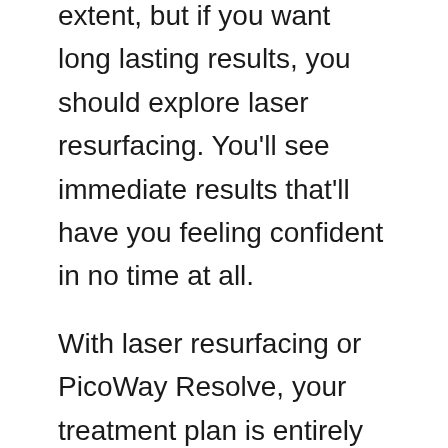extent, but if you want long lasting results, you should explore laser resurfacing. You'll see immediate results that'll have you feeling confident in no time at all.
With laser resurfacing or PicoWay Resolve, your treatment plan is entirely customized. At-home creams and anti-aging products are designed to work for a large group of people, not you as an individual.
When you work with a professional at a med-spa, they design the treatment plan with your skin condition and history in mind. There's no